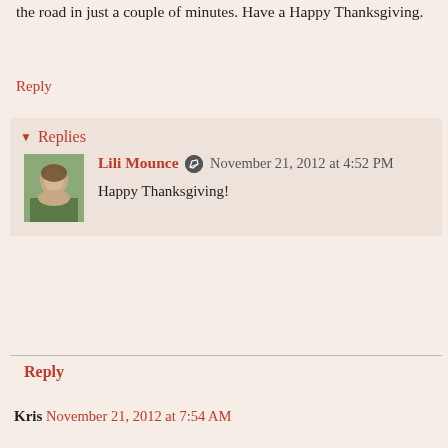the road in just a couple of minutes. Have a Happy Thanksgiving.
Reply
Replies
Lili Mounce  November 21, 2012 at 4:52 PM
Happy Thanksgiving!
Reply
Kris  November 21, 2012 at 7:54 AM
Have a wonderful Thanksgiving, Lili! Enjoy your family!

We are leaving bright and early tomorrow, which is turning out to be a good thing. Today we have dense fog--our 1/2 day of school was cancelled because of it. Tomorrow the fog is supposed to be gone and the road conditions should be great. My husband and I are probably a little on the paranoid side when it comes to driving--if the weather looks